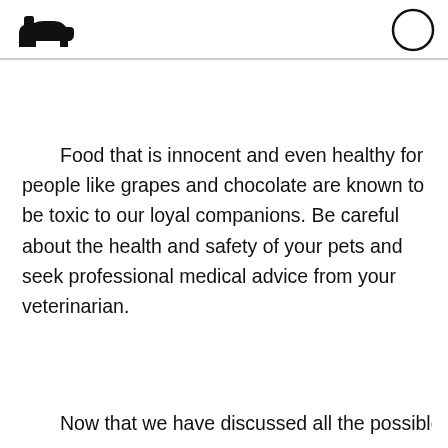[dog icon] [circle icon]
Food that is innocent and even healthy for people like grapes and chocolate are known to be toxic to our loyal companions. Be careful about the health and safety of your pets and seek professional medical advice from your veterinarian.
Now that we have discussed all the possible